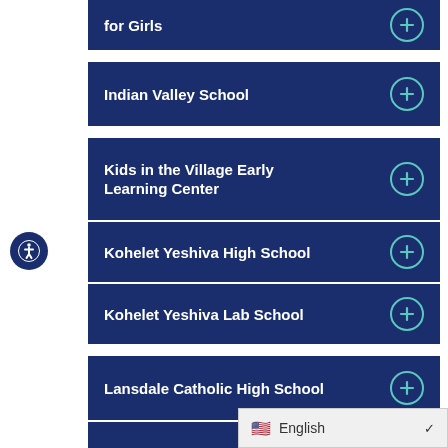for Girls
Indian Valley School
Kids in the Village Early Learning Center
Kohelet Yeshiva High School
Kohelet Yeshiva Lab School
Lansdale Catholic High School
LaSalle College High School
(partial item)